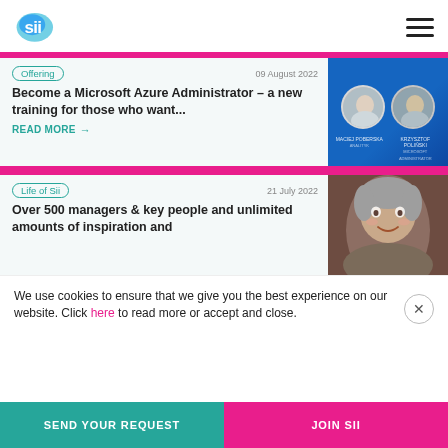Sii logo and hamburger menu
Offering  09 August 2022
Become a Microsoft Azure Administrator – a new training for those who want...
READ MORE →
[Figure (photo): Blue background with two circular portrait photos of speakers, labeled MACIEJ POBERSKA and KRZYSZTOF POLIŃSKI]
Life of Sii  21 July 2022
Over 500 managers & key people and unlimited amounts of inspiration and
[Figure (photo): Close-up photo of a smiling man with grey hair against dark background]
We use cookies to ensure that we give you the best experience on our website. Click here to read more or accept and close.
SEND YOUR REQUEST
JOIN SII